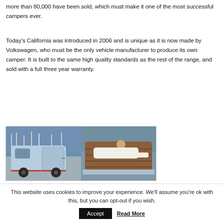more than 80,000 have been sold, which must make it one of the most successful campers ever.
Today's California was introduced in 2006 and is unique as it is now made by Volkswagen, who must be the only vehicle manufacturer to produce its own camper. It is built to the same high quality standards as the rest of the range, and sold with a full three year warranty.
[Figure (photo): Two photos side by side: left shows rear of a light blue VW van/camper at a marina; right shows a person lying on the roof/sunroof of the camper.]
This website uses cookies to improve your experience. We'll assume you're ok with this, but you can opt-out if you wish.